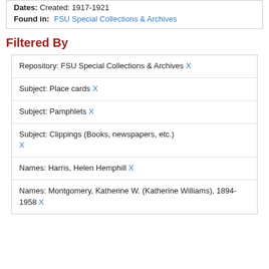Dates: Created: 1917-1921
Found in: FSU Special Collections & Archives
Filtered By
Repository: FSU Special Collections & Archives X
Subject: Place cards X
Subject: Pamphlets X
Subject: Clippings (Books, newspapers, etc.) X
Names: Harris, Helen Hemphill X
Names: Montgomery, Katherine W. (Katherine Williams), 1894-1958 X